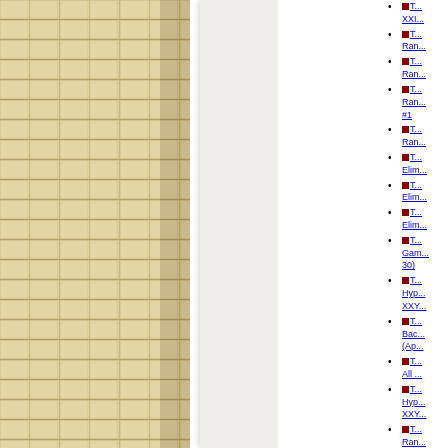[Figure (photo): A close-up photograph of a stone or brick column/pillar with cream/beige colored stones, with a white architectural panel to its right and a light gray surface further right.]
T... XXI...
T... Ran...
T... Ran...
T... Ran... #1
T... Ran...
T... Elim...
T... Elim...
T... Elim...
T... Gam... 30)
T... Hyp... XXY...
T... Bac... (Ap...
T... All ...
T... Hyp... XXY...
T... Ran...